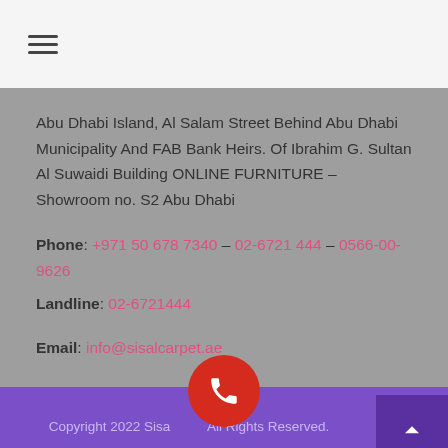☰
Abu Dhabi Island, Al Salam Street Behind Abu Dhabi Municipality And FAB Bank Heirs. Of Ibrahim G. Sultan Al Suwaidi Building ONLINE FURNITURE – Showroom no. S2 Abu Dhabi
Phone: +971 50 678 7340 – 02-6721 444 – 0566-00-9626
Landline: 02-6721444
Email: info@sisalcarpet.ae
Copyright 2022 Sisa... All Rights Reserved.